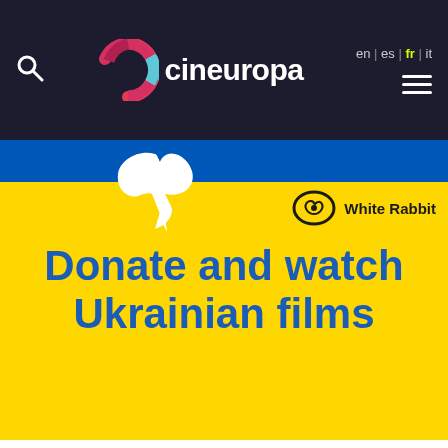cineuropa — en | es | fr | it
[Figure (screenshot): Cineuropa website screenshot showing the navigation bar with search icon, Cineuropa logo (colorful C icon with white text), language switcher (en | es | fr | it) with 'fr' highlighted in yellow-green, and hamburger menu. Below is a promotional banner with Ukrainian flag colors (blue and yellow) showing a white dove, White Rabbit logo, and text 'Donate and watch Ukrainian films' in blue on yellow background.]